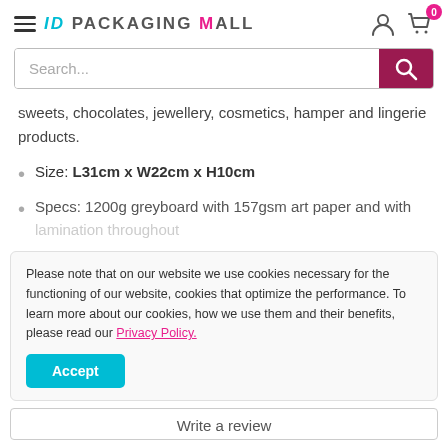ID PACKAGING MALL
[Figure (screenshot): Search bar with magnifying glass button on dark pink/maroon background]
sweets, chocolates, jewellery, cosmetics, hamper and lingerie products.
Size: L31cm x W22cm x H10cm
Specs: 1200g greyboard with 157gsm art paper and with lamination throughout
Please note that on our website we use cookies necessary for the functioning of our website, cookies that optimize the performance. To learn more about our cookies, how we use them and their benefits, please read our Privacy Policy.
Write a review